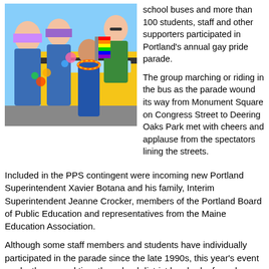[Figure (photo): Group of students and young people wearing colorful leis and rainbow accessories, posing in front of a yellow school bus at a pride parade.]
school buses and more than 100 students, staff and other supporters participated in Portland's annual gay pride parade.
The group marching or riding in the bus as the parade wound its way from Monument Square on Congress Street to Deering Oaks Park met with cheers and applause from the spectators lining the streets.
Included in the PPS contingent were incoming new Portland Superintendent Xavier Botana and his family, Interim Superintendent Jeanne Crocker, members of the Portland Board of Public Education and representatives from the Maine Education Association.
Although some staff members and students have individually participated in the parade since the late 1990s, this year's event marks the second time the school district has had a formal presence in the parade.